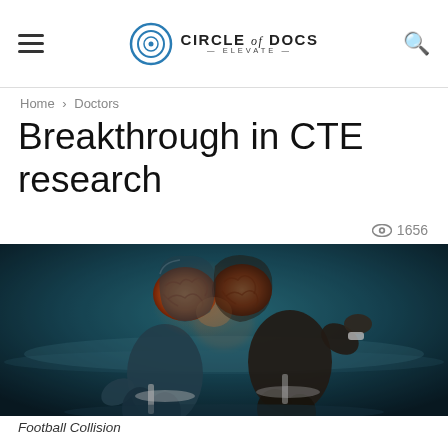Circle of Docs — ELEVATE
Home › Doctors
Breakthrough in CTE research
👁 1656
[Figure (illustration): Two football players depicted as semi-transparent anatomical figures colliding head-on, with glowing orange brains visible inside their helmets, set against a dark teal background.]
Football Collision